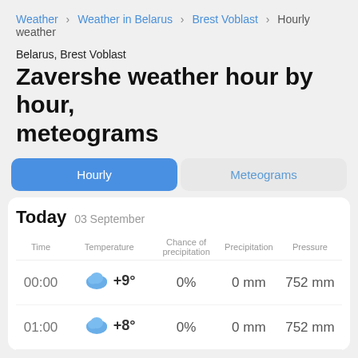Weather > Weather in Belarus > Brest Voblast > Hourly weather
Belarus, Brest Voblast
Zavershe weather hour by hour, meteograms
Hourly | Meteograms
Today 03 September
| Time | Temperature | Chance of precipitation | Precipitation | Pressure |
| --- | --- | --- | --- | --- |
| 00:00 | +9° | 0% | 0 mm | 752 mm |
| 01:00 | +8° | 0% | 0 mm | 752 mm |